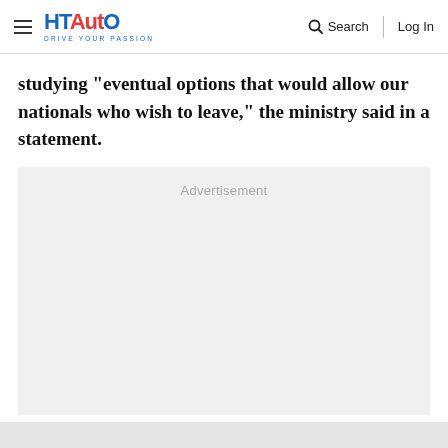HT Auto — Drive Your Passion | Search | Log In
studying "eventual options that would allow our nationals who wish to leave," the ministry said in a statement.
[Figure (other): Advertisement placeholder box with light gray background and 'Advertisement' label text centered at top]